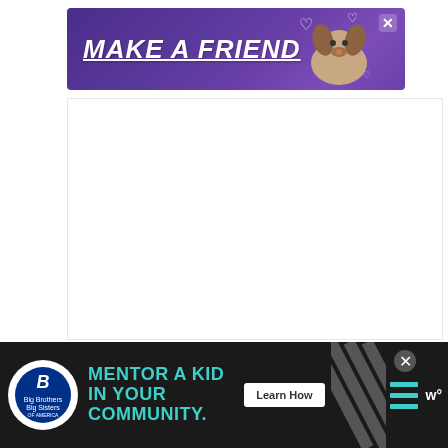[Figure (screenshot): Advertisement banner with purple background showing 'MAKE A FRIEND' text in white bold italic with underline, featuring a dog image on the right and heart decorations, with an X close button in top right corner]
[Figure (screenshot): White content area (main page body), mostly blank white space with social interaction buttons on the right side: a teal heart/like button showing 1.9K likes, and a teal share button]
[Figure (screenshot): Bottom advertisement bar with dark/black background showing Big Brothers Big Sisters logo, 'MENTOR A KID IN YOUR COMMUNITY.' in teal text, a Learn How button, diagonal stripe pattern, hamburger menu lines, and W logo]